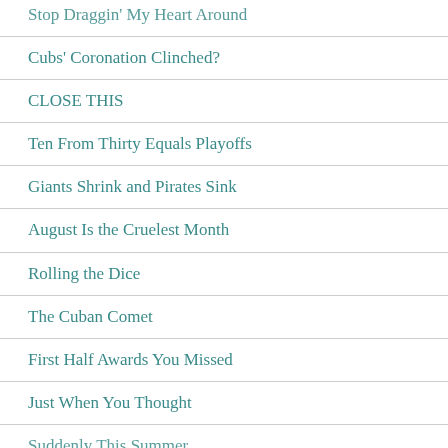Stop Draggin' My Heart Around
Cubs' Coronation Clinched?
CLOSE THIS
Ten From Thirty Equals Playoffs
Giants Shrink and Pirates Sink
August Is the Cruelest Month
Rolling the Dice
The Cuban Comet
First Half Awards You Missed
Just When You Thought
Suddenly This Summer